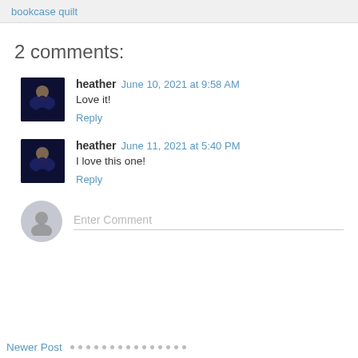bookcase quilt
2 comments:
heather  June 10, 2021 at 9:58 AM
Love it!
Reply
heather  June 11, 2021 at 5:40 PM
I love this one!
Reply
Enter Comment
Newer Post